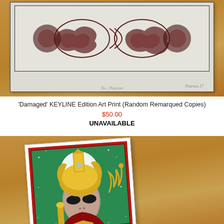[Figure (photo): Photograph of a 'Damaged' KEYLINE Edition Art Print on a wooden surface. The print shows a detailed ink drawing of a bone-like or dumbbell-shaped abstract figure with swirling dark marks on light paper, with a pencil signature visible at the bottom right.]
'Damaged' KEYLINE Edition Art Print (Random Remarqued Copies)
$50.00
UNAVAILABLE
[Figure (photo): Photograph of a colorful art print on a wooden surface showing an alien figure wearing an elaborate golden Egyptian-style headdress/helmet with a diamond, set against a green starry background with a white circle/moon behind the head. The alien has gray skin and dark almond-shaped eyes. Red decorative borders frame the art.]